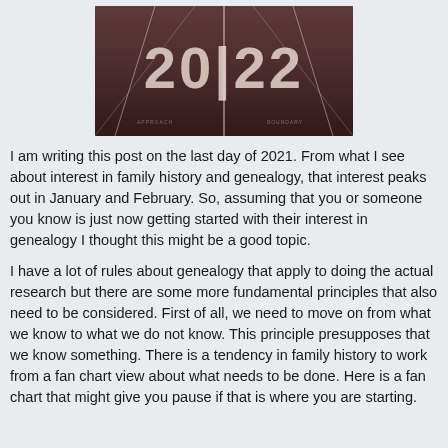[Figure (photo): A running track with '2022' painted on the surface in white letters, viewed from a low perspective looking down the lanes. Sepia/dark reddish-brown tones.]
I am writing this post on the last day of 2021. From what I see about interest in family history and genealogy, that interest peaks out in January and February. So, assuming that you or someone you know is just now getting started with their interest in genealogy I thought this might be a good topic.
I have a lot of rules about genealogy that apply to doing the actual research but there are some more fundamental principles that also need to be considered. First of all, we need to move on from what we know to what we do not know. This principle presupposes that we know something. There is a tendency in family history to work from a fan chart view about what needs to be done. Here is a fan chart that might give you pause if that is where you are starting.